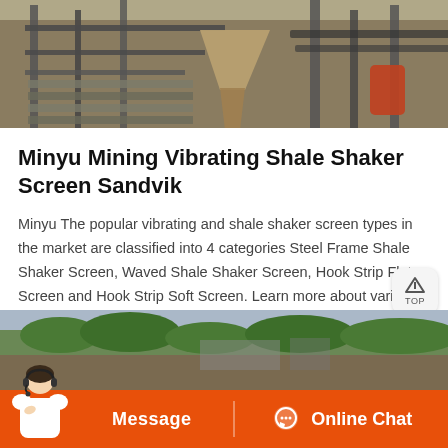[Figure (photo): Outdoor industrial mining/screening equipment — metal frames, conveyor structures, hoppers and machinery parts visible at a mining or construction site.]
Minyu Mining Vibrating Shale Shaker Screen Sandvik
Minyu The popular vibrating and shale shaker screen types in the market are classified into 4 categories Steel Frame Shale Shaker Screen, Waved Shale Shaker Screen, Hook Strip Flat Screen and Hook Strip Soft Screen. Learn more about various parts. Steel Frame Shale Shaker Screen Linear Vibrating Screen replacement mesh backed with perforated
[Figure (photo): Bottom portion of an outdoor scene with green foliage/vegetation visible, part of a second product or location photo.]